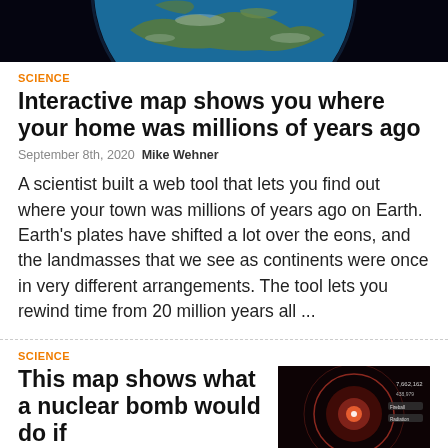[Figure (photo): Partial view of Earth from space against a black background, showing continents and clouds]
SCIENCE
Interactive map shows you where your home was millions of years ago
September 8th, 2020  Mike Wehner
A scientist built a web tool that lets you find out where your town was millions of years ago on Earth.  Earth's plates have shifted a lot over the eons, and the landmasses that we see as continents were once in very different arrangements. The tool lets you rewind time from 20 million years all ...
SCIENCE
This map shows what a nuclear bomb would do if
[Figure (screenshot): Screenshot showing a nuclear bomb impact map visualization with red/orange blast radius circles and statistics overlay]